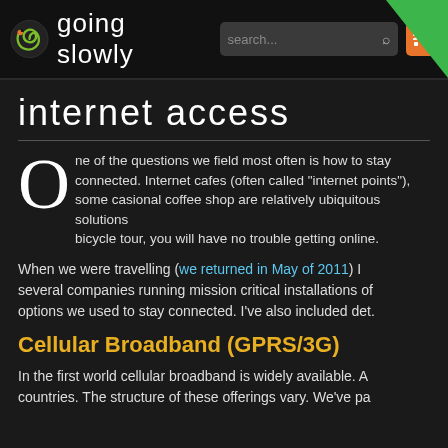going slowly | search | RSS
internet access
One of the questions we field most often is how to stay connected. Internet cafes (often called "internet points"), some occasional coffee shop are relatively ubiquitous solutions bicycle tour, you will have no trouble getting online.
When we were travelling (we returned in May of 2011) I several companies running mission critical installations of options we used to stay connected. I've also included det
Cellular Broadband (GPRS/3G)
In the first world cellular broadband is widely available. A countries. The structure of these offerings vary. We've pa